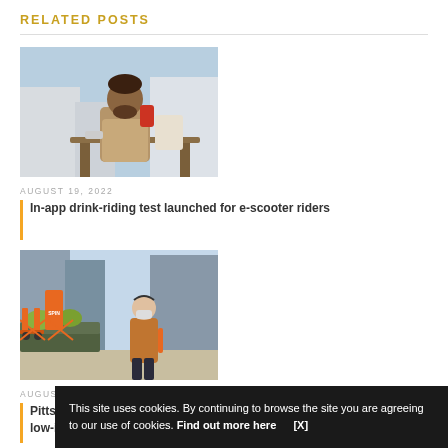RELATED POSTS
[Figure (photo): Man sitting at outdoor table looking at a phone, smiling, with buildings in background]
AUGUST 19, 2022
In-app drink-riding test launched for e-scooter riders
[Figure (photo): Person walking past a row of orange Spin e-scooters parked in a city street]
AUGUST-
Pittsburgh free transport low-income residents
This site uses cookies. By continuing to browse the site you are agreeing to our use of cookies. Find out more here  [X]